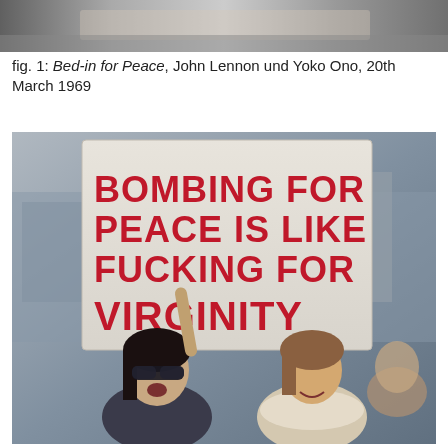[Figure (photo): Top portion of a photo, cropped, showing blurred background, appears to be a black and white or muted image]
fig. 1: Bed-in for Peace, John Lennon und Yoko Ono, 20th March 1969
[Figure (photo): Protest photo showing two women at a demonstration, one holding a sign that reads 'BOMBING FOR PEACE IS LIKE FUCKING FOR VIRGINITY' written in red text on a white cardboard sign. The woman on the left wears sunglasses and has dark hair; the woman on the right has lighter hair and wears a scarf. The background is blurred and urban.]